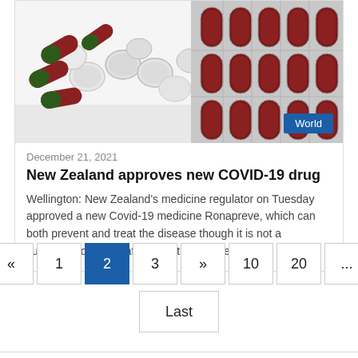[Figure (photo): Photo of various pills and capsules including red-green capsules, white round tablets, and blister packs of dark red/brown capsules on a white background]
December 21, 2021
New Zealand approves new COVID-19 drug
Wellington: New Zealand's medicine regulator on Tuesday approved a new Covid-19 medicine Ronapreve, which can both prevent and treat the disease though it is not a substitute for vaccination and its effectiveness...